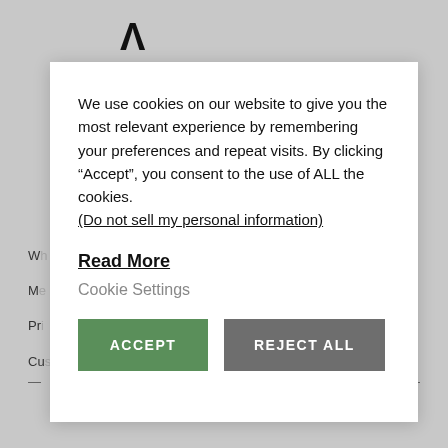[Figure (logo): A caret/chevron logo mark (^) in black]
We use cookies on our website to give you the most relevant experience by remembering your preferences and repeat visits. By clicking “Accept”, you consent to the use of ALL the cookies. (Do not sell my personal information)
Read More
Cookie Settings
ACCEPT
REJECT ALL